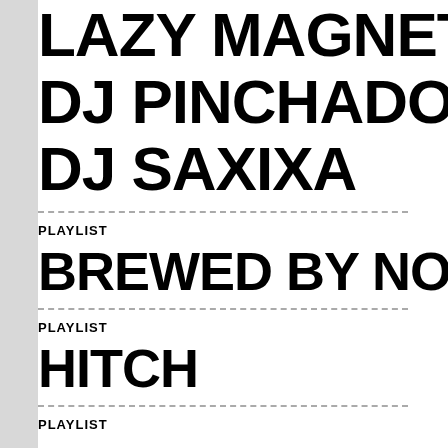LAZY MAGNET (
DJ PINCHADO (/
DJ SAXIXA
PLAYLIST
BREWED BY NO
PLAYLIST
HITCH
PLAYLIST